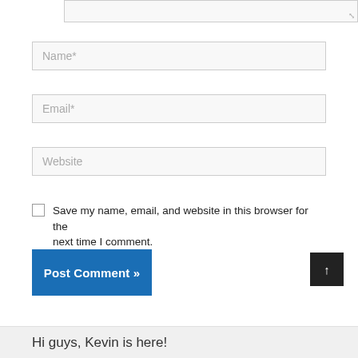[Figure (screenshot): Partial textarea (top of comment box) with resize handle in bottom-right corner]
Name*
Email*
Website
Save my name, email, and website in this browser for the next time I comment.
Post Comment »
↑
Hi guys, Kevin is here!